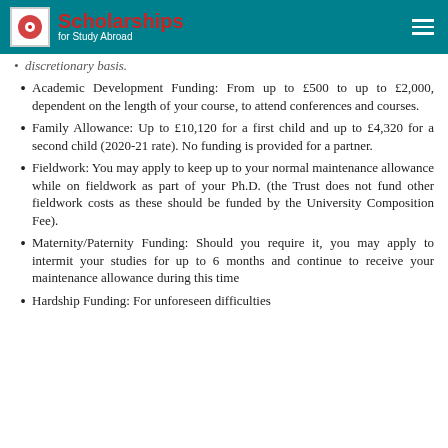Scholarships for Study Abroad
Academic Development Funding: From up to £500 to up to £2,000, dependent on the length of your course, to attend conferences and courses.
Family Allowance: Up to £10,120 for a first child and up to £4,320 for a second child (2020-21 rate). No funding is provided for a partner.
Fieldwork: You may apply to keep up to your normal maintenance allowance while on fieldwork as part of your Ph.D. (the Trust does not fund other fieldwork costs as these should be funded by the University Composition Fee).
Maternity/Paternity Funding: Should you require it, you may apply to intermit your studies for up to 6 months and continue to receive your maintenance allowance during this time
Hardship Funding: For unforeseen difficulties